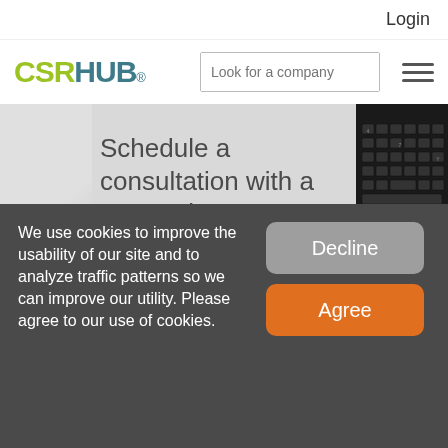Login
[Figure (logo): CSRHUB logo with green CSR and teal HUB text]
[Figure (screenshot): Search bar with placeholder 'Look for a company' and teal search button, plus hamburger menu icon]
Schedule a consultation with a CSRHub team member to explore your use case and
We use cookies to improve the usability of our site and to analyze traffic patterns so we can improve our utility. Please agree to our use of cookies.